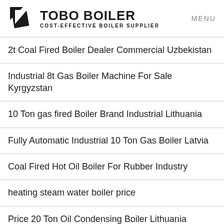TOBO BOILER - COST-EFFECTIVE BOILER SUPPLIER | MENU
2t Coal Fired Boiler Dealer Commercial Uzbekistan
Industrial 8t Gas Boiler Machine For Sale Kyrgyzstan
10 Ton gas fired Boiler Brand Industrial Lithuania
Fully Automatic Industrial 10 Ton Gas Boiler Latvia
Coal Fired Hot Oil Boiler For Rubber Industry
heating steam water boiler price
Price 20 Ton Oil Condensing Boiler Lithuania
8t Coal Steam Boiler Agent Price Turkmenistan